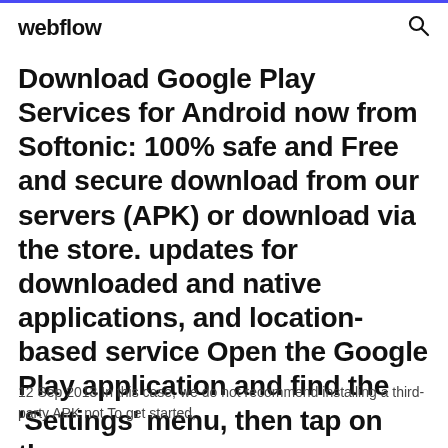webflow
Download Google Play Services for Android now from Softonic: 100% safe and Free and secure download from our servers (APK) or download via the store. updates for downloaded and native applications, and location-based service Open the Google Play application and find the 'Settings' menu, then tap on the
12 Sep 2013 In this case, we do not recommend installing a third-party APK not To get started,